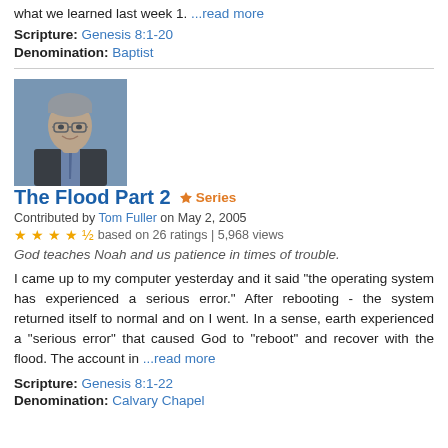what we learned last week 1. ...read more
Scripture: Genesis 8:1-20
Denomination: Baptist
[Figure (photo): Portrait photo of Tom Fuller, a man in a dark suit with glasses, smiling, against a blue background]
The Flood Part 2  ♦ Series
Contributed by Tom Fuller on May 2, 2005
★★★★½ based on 26 ratings | 5,968 views
God teaches Noah and us patience in times of trouble.
I came up to my computer yesterday and it said "the operating system has experienced a serious error." After rebooting - the system returned itself to normal and on I went. In a sense, earth experienced a "serious error" that caused God to "reboot" and recover with the flood. The account in ...read more
Scripture: Genesis 8:1-22
Denomination: Calvary Chapel